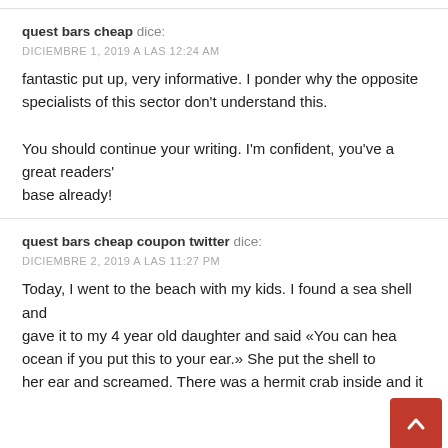quest bars cheap dice:
DICIEMBRE 1, 2019 A LAS 12:24 AM
fantastic put up, very informative. I ponder why the opposite specialists of this sector don't understand this.

You should continue your writing. I'm confident, you've a great readers'
base already!
quest bars cheap coupon twitter dice:
DICIEMBRE 2, 2019 A LAS 11:27 PM
Today, I went to the beach with my kids. I found a sea shell and
gave it to my 4 year old daughter and said «You can hea ocean if you put this to your ear.» She put the shell to her ear and screamed. There was a hermit crab inside and it